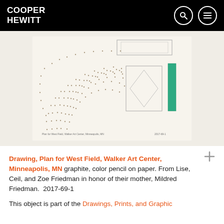COOPER HEWITT
[Figure (illustration): Architectural drawing showing a fan-shaped or semicircular plan with radiating dot grid pattern, a rectangular element, and a green vertical rectangle accent, on cream paper with handwritten notes at the bottom.]
Drawing, Plan for West Field, Walker Art Center, Minneapolis, MN graphite, color pencil on paper. From Lise, Ceil, and Zoe Friedman in honor of their mother, Mildred Friedman. 2017-69-1
This object is part of the Drawings, Prints, and Graphic